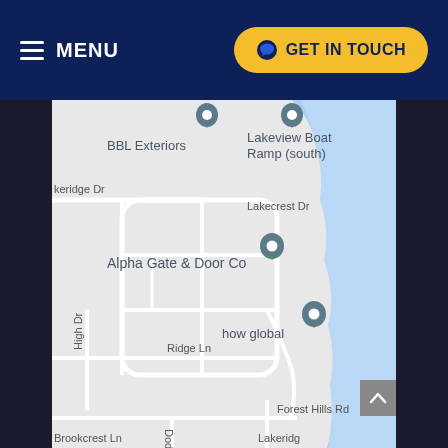MENU | GET IN TOUCH
[Figure (map): Google Maps screenshot showing BBL Exteriors, Lakeview Boat Ramp (south), Alpha Gate & Door Co, and how global location pins in a residential area with streets: Lakeridge Dr, Lakecrest Dr, High Dr, Ridge Ln, Forest Hills Rd, Dodd Ln, Lakeridge, Brookcrest Ln. A blue lake/water body is visible on the right side of the map.]